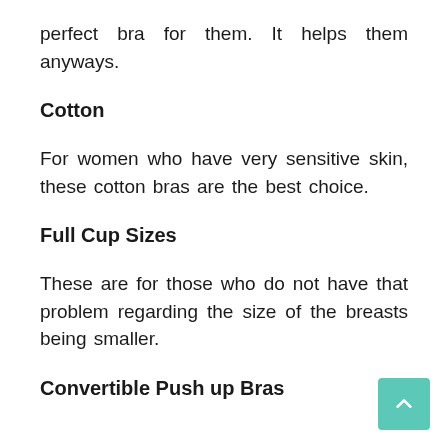perfect bra for them. It helps them anyways.
Cotton
For women who have very sensitive skin, these cotton bras are the best choice.
Full Cup Sizes
These are for those who do not have that problem regarding the size of the breasts being smaller.
Convertible Push up Bras
They are useful for both small and large breasts.